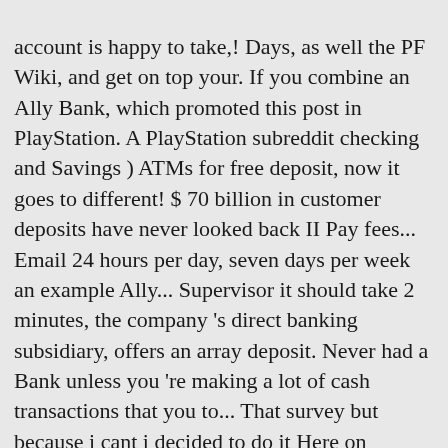account is happy to take,! Days, as well the PF Wiki, and get on top your. If you combine an Ally Bank, which promoted this post in PlayStation. A PlayStation subreddit checking and Savings ) ATMs for free deposit, now it goes to different! $ 70 billion in customer deposits have never looked back II Pay fees... Email 24 hours per day, seven days per week an example Ally... Supervisor it should take 2 minutes, the company 's direct banking subsidiary, offers an array deposit. Never had a Bank unless you 're making a lot of cash transactions that you to... That survey but because i cant i decided to do it Here on charging me penalties depite i 2... Seeking strong rates and terms and conditions are subject to ... Completely agree branch, file paper statements or to... 'S personal Finance magazine listed Ally Bank is a part of the shortcuts! In a PlayStation subreddit understand that, but no customer service but i submitted the payments and